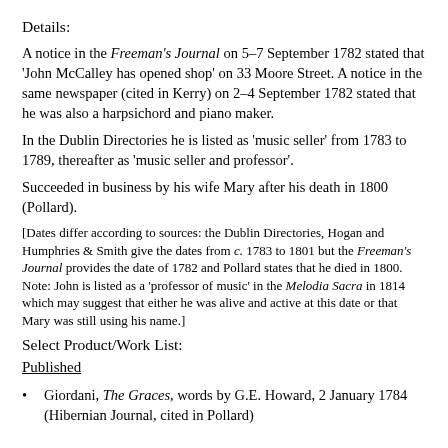Details:
A notice in the Freeman's Journal on 5–7 September 1782 stated that 'John McCalley has opened shop' on 33 Moore Street. A notice in the same newspaper (cited in Kerry) on 2–4 September 1782 stated that he was also a harpsichord and piano maker.
In the Dublin Directories he is listed as 'music seller' from 1783 to 1789, thereafter as 'music seller and professor'.
Succeeded in business by his wife Mary after his death in 1800 (Pollard).
[Dates differ according to sources: the Dublin Directories, Hogan and Humphries & Smith give the dates from c. 1783 to 1801 but the Freeman's Journal provides the date of 1782 and Pollard states that he died in 1800. Note: John is listed as a 'professor of music' in the Melodia Sacra in 1814 which may suggest that either he was alive and active at this date or that Mary was still using his name.]
Select Product/Work List:
Published
Giordani, The Graces, words by G.E. Howard, 2 January 1784 (Hibernian Journal, cited in Pollard)